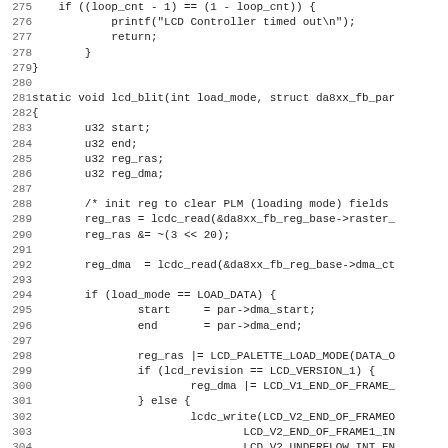[Figure (screenshot): Source code listing in monospace font showing C code for an LCD framebuffer driver, lines 275-307. Shows functions lcd_blit with variable declarations, register reads, DMA configuration, and conditional branches for LCD_VERSION_1 and else cases.]